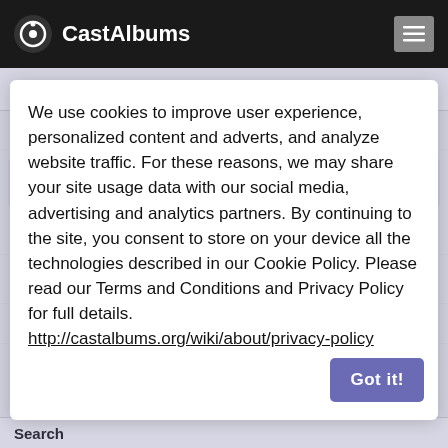CastAlbums
8. Little Tin Box
We use cookies to improve user experience, personalized content and adverts, and analyze website traffic. For these reasons, we may share your site usage data with our social media, advertising and analytics partners. By continuing to the site, you consent to store on your device all the technologies described in our Cookie Policy. Please read our Terms and Conditions and Privacy Policy for full details. http://castalbums.org/wiki/about/privacy-policy
Got it!
Search